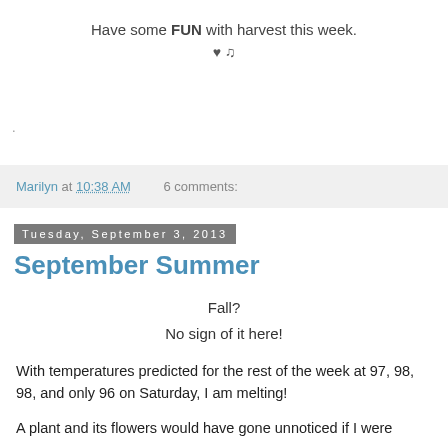Have some FUN with harvest this week.
♥ ♫
.
Marilyn at 10:38 AM   6 comments:
Tuesday, September 3, 2013
September Summer
Fall?
No sign of it here!
With temperatures predicted for the rest of the week at 97, 98, 98, and only 96 on Saturday, I am melting!
A plant and its flowers would have gone unnoticed if I were